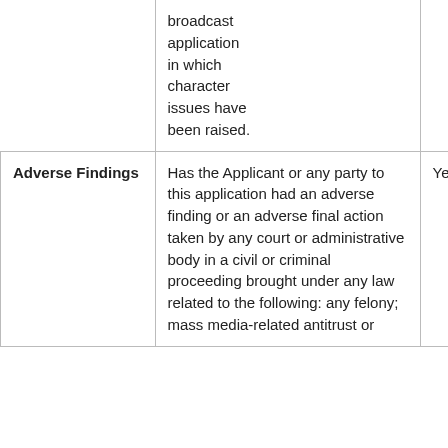|  |  |  |
| --- | --- | --- |
|  | broadcast application in which character issues have been raised. |  |
| Adverse Findings | Has the Applicant or any party to this application had an adverse finding or an adverse final action taken by any court or administrative body in a civil or criminal proceeding brought under any law related to the following: any felony; mass media-related antitrust or | Yes |